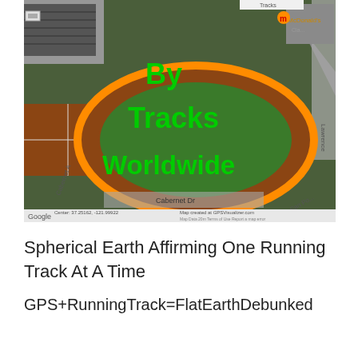[Figure (map): Aerial Google Maps satellite view of a running track (oval shape highlighted with orange outline). Green text overlay reads 'By Tracks Worldwide'. Map shows surrounding streets including Cabernet Dr and Lawrence. Google logo and GPS Visualizer attribution visible at bottom.]
Spherical Earth Affirming One Running Track At A Time
GPS+RunningTrack=FlatEarthDebunked